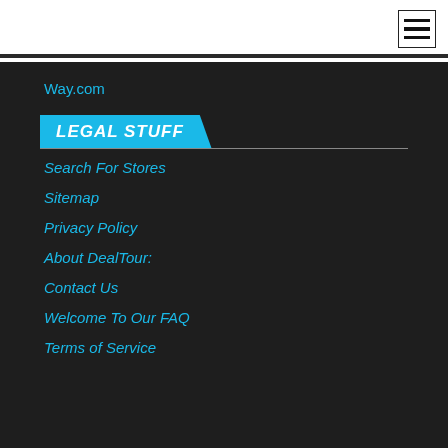Way.com
LEGAL STUFF
Search For Stores
Sitemap
Privacy Policy
About DealTour:
Contact Us
Welcome To Our FAQ
Terms of Service